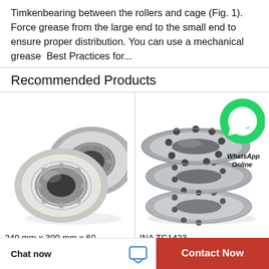Timkenbearing between the rollers and cage (Fig. 1). Force grease from the large end to the small end to ensure proper distribution. You can use a mechanical grease  Best Practices for...
Recommended Products
[Figure (photo): Two small silver ball bearings with metal shields]
240 mm x 300 mm x 60
[Figure (photo): Stack of silver thrust bearing washers with boltholes, with a green WhatsApp icon overlay and text 'WhatsApp Online']
INA TC1423
Chat now
Contact Now